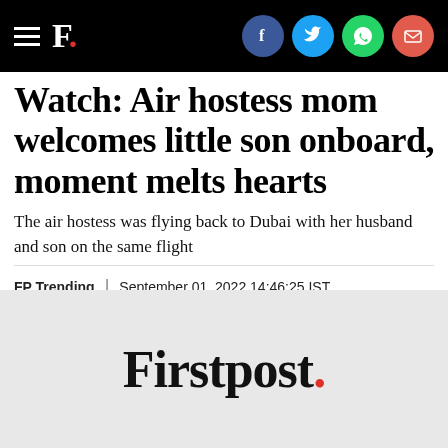F. [Firstpost logo with social icons: Facebook, Twitter, WhatsApp, Email]
Watch: Air hostess mom welcomes little son onboard, moment melts hearts
The air hostess was flying back to Dubai with her husband and son on the same flight
FP Trending | September 01, 2022 14:46:25 IST
[Figure (logo): Firstpost logo in black serif font with a red period at the end, on a light grey background]